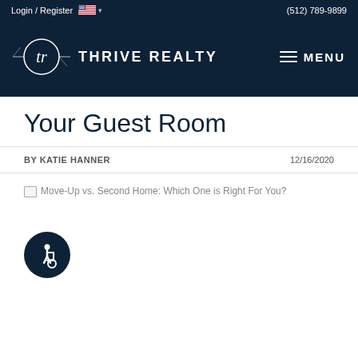Login / Register   (512) 789-9899
[Figure (logo): Thrive Realty logo with circular 'tr' monogram and text 'THRIVE REALTY' on dark navy background, with hamburger menu icon and MENU text on the right]
Your Guest Room
BY KATIE HANNER   12/16/2020
[Figure (photo): Broken image placeholder for 'Move-Up vs. Second Home: Which One is Right For You?' article image]
[Figure (other): Accessibility icon - circular dark navy button with wheelchair user symbol]